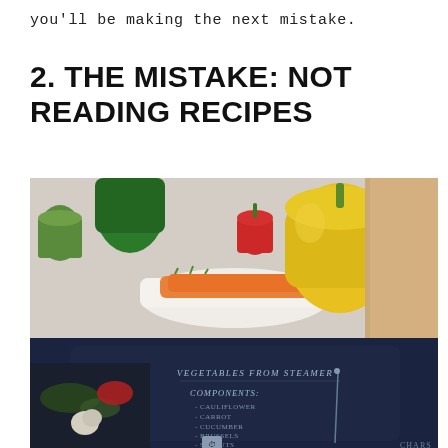you'll be making the next mistake.
2. THE MISTAKE: NOT READING RECIPES
[Figure (photo): A woman reading a recipe on a tablet showing 'Vegetables from Steamer' with components listed (cauliflower, carrot, cucumber, brussels sprouts, pepper), surrounded by fresh vegetables including bell peppers, carrots, and herbs on a kitchen counter.]